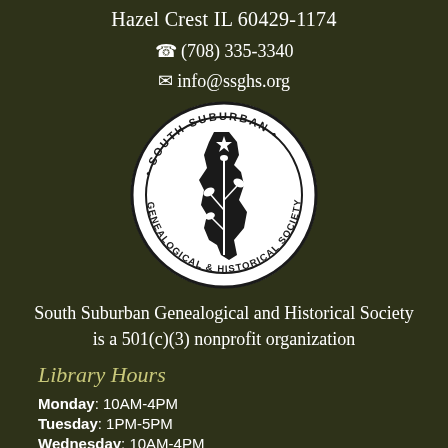Hazel Crest IL 60429-1174
☎ (708) 335-3340
✉ info@ssghs.org
[Figure (logo): South Suburban Genealogical and Historical Society circular seal logo with Illinois state outline and plant motif]
South Suburban Genealogical and Historical Society is a 501(c)(3) nonprofit organization
Library Hours
Monday: 10AM-4PM
Tuesday: 1PM-5PM
Wednesday: 10AM-4PM